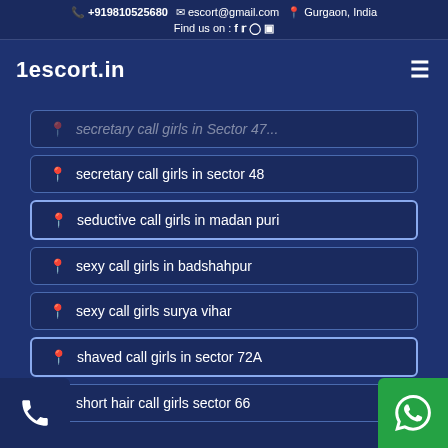+919810525680  escort@gmail.com  Gurgaon, India  Find us on : f tw ig yt
1escort.in
secretary call girls in sector 48
seductive call girls in madan puri
sexy call girls in badshahpur
sexy call girls surya vihar
shaved call girls in sector 72A
short hair call girls sector 66